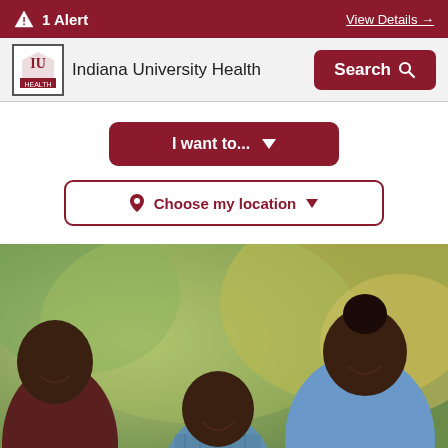1 Alert   View Details →
[Figure (logo): Indiana University Health logo with IU shield emblem]
Indiana University Health
Search
I want to...
Choose my location
[Figure (photo): A smiling Black family — adult man on left, teenage girl on right in denim jacket, young boy in center — running outdoors with blurred green trees in background]